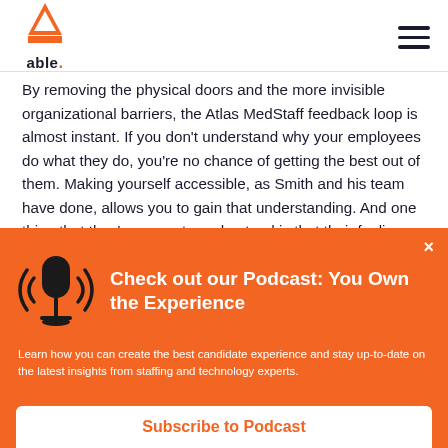able. [logo] [hamburger menu]
By removing the physical doors and the more invisible organizational barriers, the Atlas MedStaff feedback loop is almost instant. If you don't understand why your employees do what they do, you're no chance of getting the best out of them. Making yourself accessible, as Smith and his team have done, allows you to gain that understanding. And one thing that they've come to understand is that their feelings about their company might be different to those of their employees, but
Check out our Podcast: You Own the Experience
Learn how you can create the best candidate experience and stay up-to-date on the latest insights from staffing and technology experts.
Subscribe to Podcast